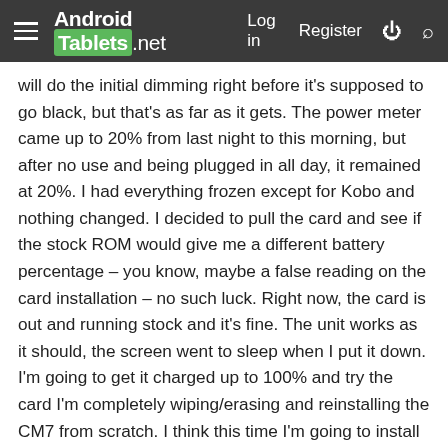Android Tablets.net  Log in  Register
will do the initial dimming right before it's supposed to go black, but that's as far as it gets. The power meter came up to 20% from last night to this morning, but after no use and being plugged in all day, it remained at 20%. I had everything frozen except for Kobo and nothing changed. I decided to pull the card and see if the stock ROM would give me a different battery percentage – you know, maybe a false reading on the card installation – no such luck. Right now, the card is out and running stock and it's fine. The unit works as it should, the screen went to sleep when I put it down. I'm going to get it charged up to 100% and try the card I'm completely wiping/erasing and reinstalling the CM7 from scratch. I think this time I'm going to install CM7 7.0.3 and see if there's any difference. I'll install the 0.3 version alone, check for the usual symptoms and then slow drag with apps from TiBackup.